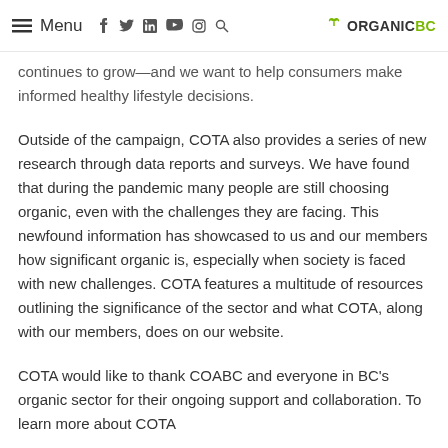Menu [icons: facebook, twitter, linkedin, youtube, instagram, search] ORGANIC BC
continues to grow—and we want to help consumers make informed healthy lifestyle decisions.
Outside of the campaign, COTA also provides a series of new research through data reports and surveys. We have found that during the pandemic many people are still choosing organic, even with the challenges they are facing. This newfound information has showcased to us and our members how significant organic is, especially when society is faced with new challenges. COTA features a multitude of resources outlining the significance of the sector and what COTA, along with our members, does on our website.
COTA would like to thank COABC and everyone in BC's organic sector for their ongoing support and collaboration. To learn more about COTA